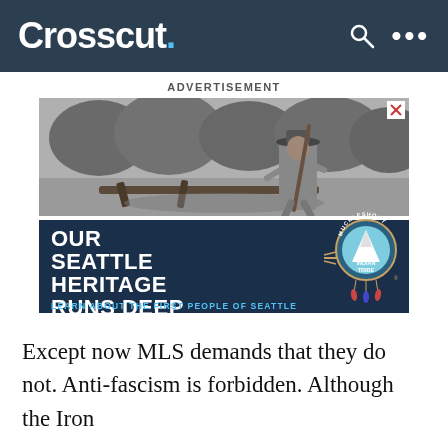Crosscut.
ADVERTISEMENT
[Figure (photo): Black and white historical photograph of a Native American man in a wide-brimmed hat standing on a log raft or riverbank with trees in the background, above a dark blue advertisement panel reading 'OUR SEATTLE HERITAGE RUNS DEEP — LEARN ABOUT THE FIRST PEOPLE OF SEATTLE' with the Muckleshoot Indian Tribe logo/seal]
Except now MLS demands that they do not. Anti-fascism is forbidden. Although the Iron